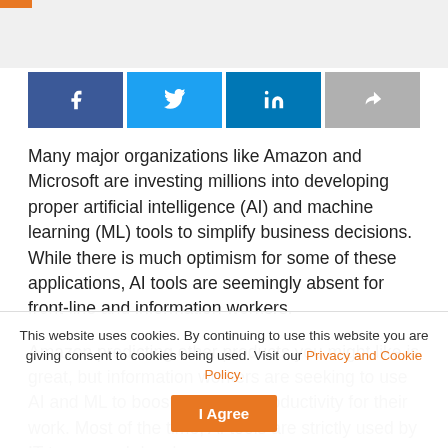[Figure (infographic): Social share buttons: Facebook (dark blue), Twitter (light blue), LinkedIn (blue), Share/forward (gray)]
Many major organizations like Amazon and Microsoft are investing millions into developing proper artificial intelligence (AI) and machine learning (ML) tools to simplify business decisions. While there is much optimism for some of these applications, AI tools are seemingly absent for front-line and information workers.
Amazon predicting other products you might like is great, but information workers are seeking to use AI and ML to boost their own productivity for their work. Most of the time, AI tools are strictly used by IT teams and developers
This website uses cookies. By continuing to use this website you are giving consent to cookies being used. Visit our Privacy and Cookie Policy.